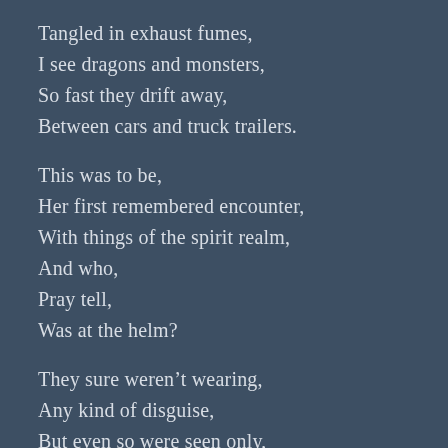Tangled in exhaust fumes,
I see dragons and monsters,
So fast they drift away,
Between cars and truck trailers.
This was to be,
Her first remembered encounter,
With things of the spirit realm,
And who,
Pray tell,
Was at the helm?
They sure weren't wearing,
Any kind of disguise,
But even so were seen only,
By this girl's eyes.